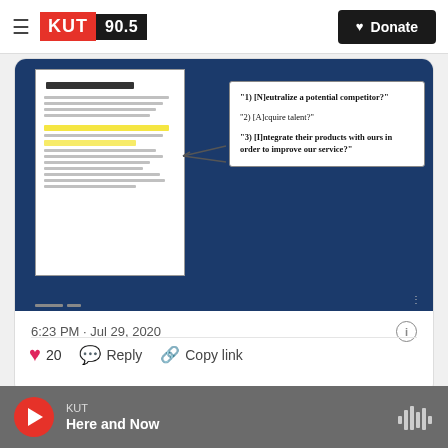KUT 90.5 — Donate
[Figure (screenshot): Screenshot of a tweet showing an image of a highlighted document with a callout box listing three questions: 1) [N]eutralize a potential competitor? 2) [A]cquire talent? 3) [I]ntegrate their products with ours in order to improve our service?]
6:23 PM · Jul 29, 2020
20   Reply   Copy link
Read 4 replies
KUT — Here and Now